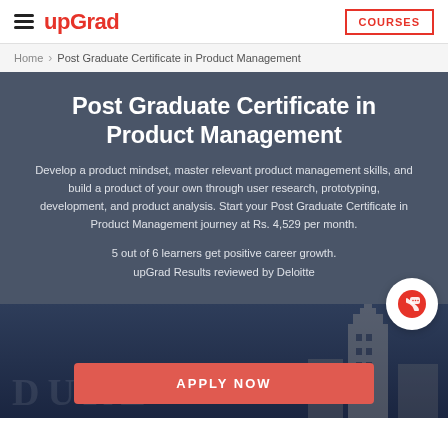upGrad | COURSES
Home > Post Graduate Certificate in Product Management
Post Graduate Certificate in Product Management
Develop a product mindset, master relevant product management skills, and build a product of your own through user research, prototyping, development, and product analysis. Start your Post Graduate Certificate in Product Management journey at Rs. 4,529 per month.
5 out of 6 learners get positive career growth.
upGrad Results reviewed by Deloitte
[Figure (screenshot): Duke University campus building image with APPLY NOW button overlay at bottom]